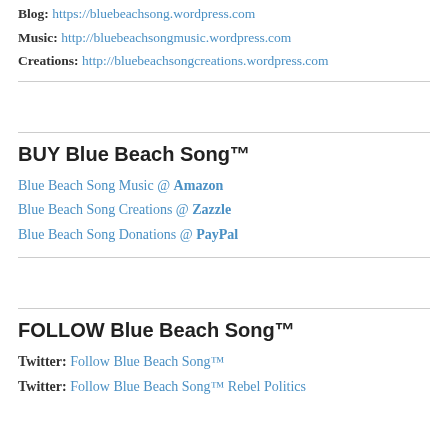Blog: https://bluebeachsong.wordpress.com
Music: http://bluebeachsongmusic.wordpress.com
Creations: http://bluebeachsongcreations.wordpress.com
BUY Blue Beach Song™
Blue Beach Song Music @ Amazon
Blue Beach Song Creations @ Zazzle
Blue Beach Song Donations @ PayPal
FOLLOW Blue Beach Song™
Twitter: Follow Blue Beach Song™
Twitter: Follow Blue Beach Song™ Rebel Politics